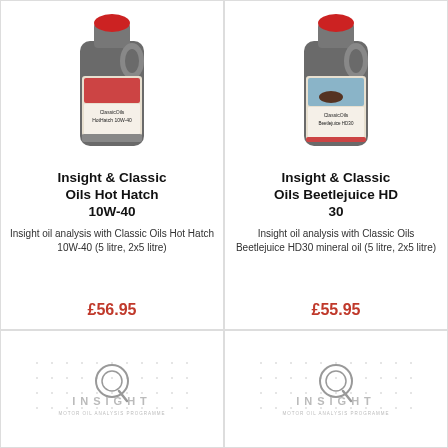[Figure (photo): Oil bottle - Classic Oils Hot Hatch 10W-40]
Insight & Classic Oils Hot Hatch 10W-40
Insight oil analysis with Classic Oils Hot Hatch 10W-40 (5 litre, 2x5 litre)
£56.95
[Figure (photo): Oil bottle - Classic Oils Beetlejuice HD30 mineral oil]
Insight & Classic Oils Beetlejuice HD 30
Insight oil analysis with Classic Oils Beetlejuice HD30 mineral oil (5 litre, 2x5 litre)
£55.95
[Figure (logo): Insight Motor Oil Analysis Programme logo - bottom left]
[Figure (logo): Insight Motor Oil Analysis Programme logo - bottom right]